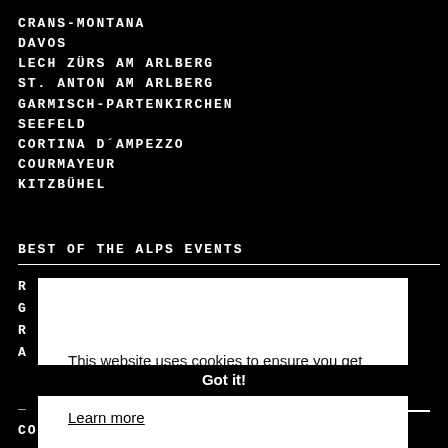CRANS-MONTANA
DAVOS
LECH ZÜRS AM ARLBERG
ST. ANTON AM ARLBERG
GARMISCH-PARTENKIRCHEN
SEEFELD
CORTINA D´AMPEZZO
COURMAYEUR
KITZBÜHEL
BEST OF THE ALPS EVENTS
R
G
R
A
B
This website uses cookies to ensure you get the best experience on our website. Learn more
Got it!
A
_
CORE VALUES